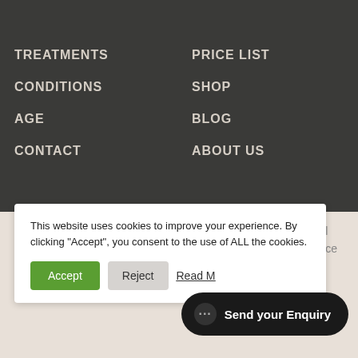TREATMENTS
CONDITIONS
AGE
CONTACT
PRICE LIST
SHOP
BLOG
ABOUT US
This website uses cookies to improve your experience. By clicking “Accept”, you consent to the use of ALL the cookies.
mber 2022 will Skin Confidence emed against diti...
Send your Enquiry